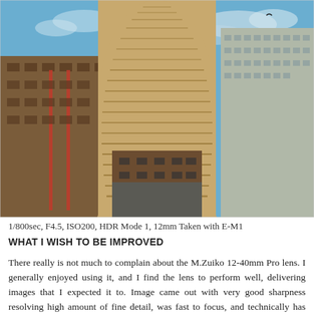[Figure (photo): Upward-angled photograph of a tall cylindrical skyscraper flanked by other buildings against a blue sky with scattered white clouds. The main tower has repeating horizontal balcony levels visible on its rounded facade. Taken in HDR mode.]
1/800sec, F4.5, ISO200, HDR Mode 1, 12mm Taken with E-M1
WHAT I WISH TO BE IMPROVED
There really is not much to complain about the M.Zuiko 12-40mm Pro lens. I generally enjoyed using it, and I find the lens to perform well, delivering images that I expected it to. Image came out with very good sharpness resolving high amount of fine detail, was fast to focus, and technically has little to no fault. It was not easy to pin point what the lens